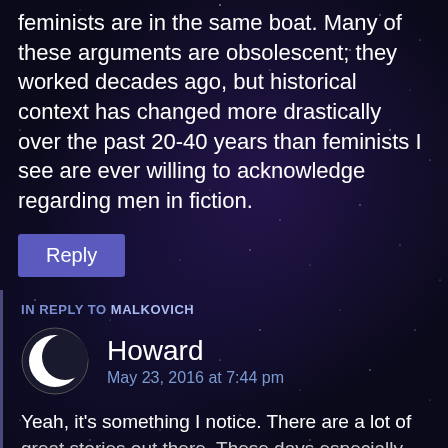feminists are in the same boat. Many of these arguments are obsolescent; they worked decades ago, but historical context has changed more drastically over the past 20-40 years than feminists I see are ever willing to acknowledge regarding men in fiction.
Reply
IN REPLY TO MALKOVICH
Howard
May 23, 2016 at 7:44 pm
Yeah, it's something I notice. There are a lot of great stories out there. These days especially